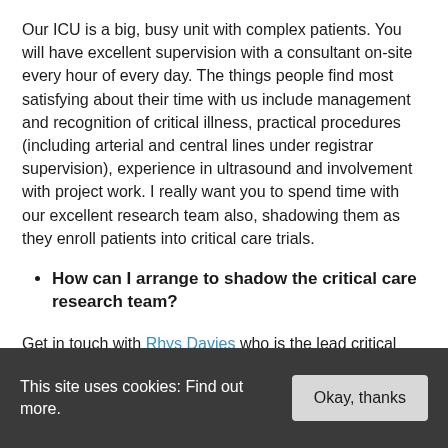Our ICU is a big, busy unit with complex patients. You will have excellent supervision with a consultant on-site every hour of every day. The things people find most satisfying about their time with us include management and recognition of critical illness, practical procedures (including arterial and central lines under registrar supervision), experience in ultrasound and involvement with project work. I really want you to spend time with our excellent research team also, shadowing them as they enroll patients into critical care trials.
How can I arrange to shadow the critical care research team?
Get in touch with Rhys Davies who is the lead critical
This site uses cookies: Find out more. [Okay, thanks]